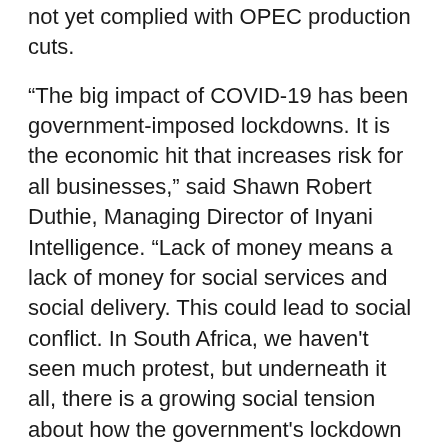not yet complied with OPEC production cuts.
“The big impact of COVID-19 has been government-imposed lockdowns. It is the economic hit that increases risk for all businesses,” said Shawn Robert Duthie, Managing Director of Inyani Intelligence. “Lack of money means a lack of money for social services and social delivery. This could lead to social conflict. In South Africa, we haven't seen much protest, but underneath it all, there is a growing social tension about how the government's lockdown has affected people's livelihoods and jobs.”
Reduced government revenues from crude oil exports due to a drop in demand could also lead to changes in tax and regulatory frameworks that govern oil-producing countries.
The big impact of COVID-19 has been government-imposed lockdowns
“Looking at a more macroeconomic level, we might see